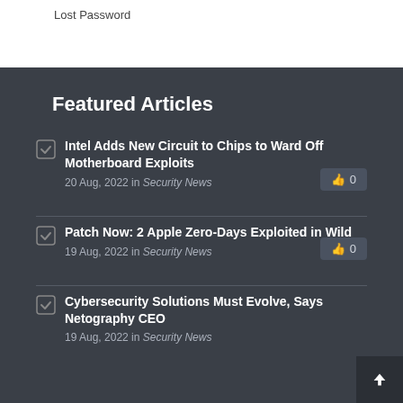Lost Password
Featured Articles
Intel Adds New Circuit to Chips to Ward Off Motherboard Exploits
20 Aug, 2022 in Security News  0
Patch Now: 2 Apple Zero-Days Exploited in Wild
19 Aug, 2022 in Security News  0
Cybersecurity Solutions Must Evolve, Says Netography CEO
19 Aug, 2022 in Security News